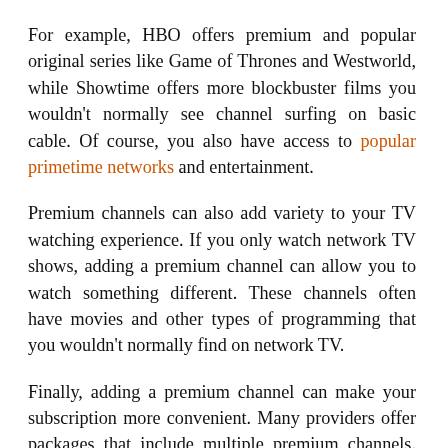For example, HBO offers premium and popular original series like Game of Thrones and Westworld, while Showtime offers more blockbuster films you wouldn't normally see channel surfing on basic cable. Of course, you also have access to popular primetime networks and entertainment.
Premium channels can also add variety to your TV watching experience. If you only watch network TV shows, adding a premium channel can allow you to watch something different. These channels often have movies and other types of programming that you wouldn't normally find on network TV.
Finally, adding a premium channel can make your subscription more convenient. Many providers offer packages that include multiple premium channels. This can make it cheaper to include a few different...